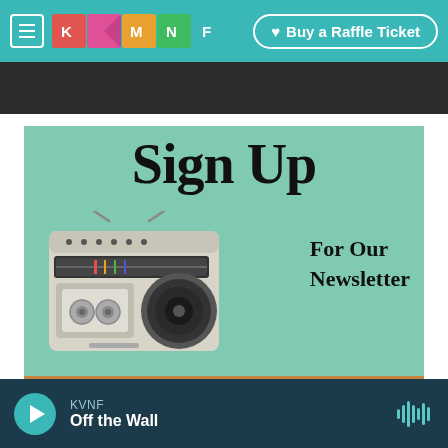KVNF — Buy a Raffle Ticket
[Figure (illustration): Newsletter sign-up promotional image with a vintage cassette radio/boombox on a wooden shelf against a teal background, with large text 'Sign Up For Our Newsletter']
[Figure (screenshot): Audio player bar at bottom showing KVNF station, program 'Off the Wall', with play button and waveform icon]